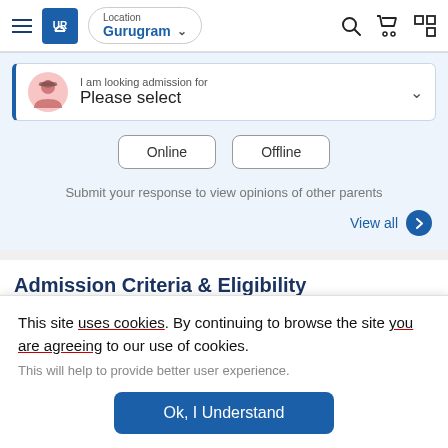UR | Location: Gurugram
I am looking admission for
Please select
Online | Offline
Submit your response to view opinions of other parents
View all
Admission Criteria & Eligibility
Select Session
This site uses cookies. By continuing to browse the site you are agreeing to our use of cookies.
This will help to provide better user experience.
Ok, I Understand